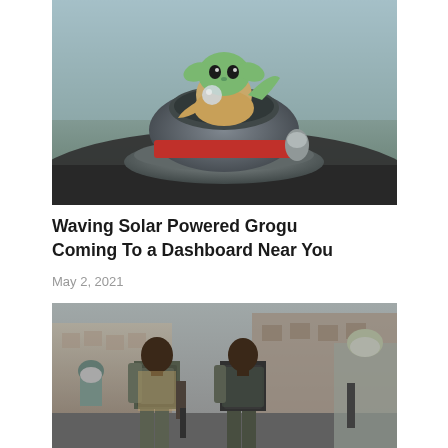[Figure (photo): A Grogu (Baby Yoda) solar-powered waving figurine sitting in a small pod/saucer on a car dashboard. The figurine has large eyes and green skin, dressed in brown robes with a red accent pod interior.]
Waving Solar Powered Grogu Coming To a Dashboard Near You
May 2, 2021
[Figure (photo): Two men in tactical military gear with body armor and backpacks walking forward. Behind them are other soldiers in military uniforms. The setting appears to be an urban outdoor environment.]